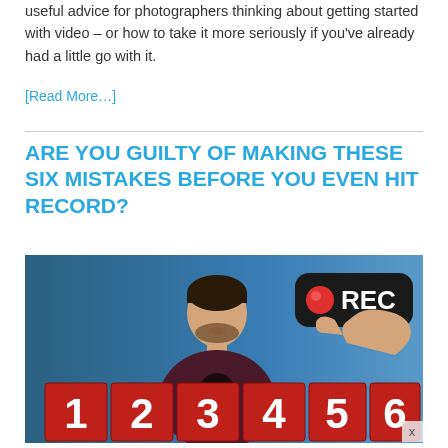useful advice for photographers thinking about getting started with video – or how to take it more seriously if you've already had a little go with it.
[Read More…]
ARE YOU GUILTY OF MAKING THESE SIX MISTAKES BEFORE YOU EVEN HIT RECORD?
[Figure (photo): A man in a dark maroon shirt stands in front of a blue background. In the lower portion of the image are large red blocks numbered 1 2 3 4 5 6. In the upper right corner is a large black REC button with a red dot being pressed by a pointing hand/finger.]